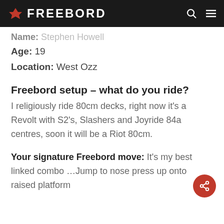FREEBORD
Name: Stephen Howell
Age: 19
Location: West Ozz
Freebord setup – what do you ride?
I religiously ride 80cm decks, right now it's a Revolt with S2's, Slashers and Joyride 84a centres, soon it will be a Riot 80cm.
Your signature Freebord move: It's my best linked combo …Jump to nose press up onto raised platform